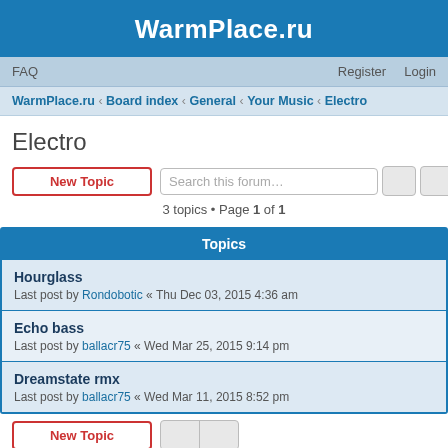WarmPlace.ru
FAQ   Register   Login
WarmPlace.ru ‹ Board index ‹ General ‹ Your Music ‹ Electro
Electro
New Topic   Search this forum…
3 topics • Page 1 of 1
Topics
Hourglass
Last post by Rondobotic « Thu Dec 03, 2015 4:36 am
Echo bass
Last post by ballacr75 « Wed Mar 25, 2015 9:14 pm
Dreamstate rmx
Last post by ballacr75 « Wed Mar 11, 2015 8:52 pm
3 topics • Page 1 of 1
Jump to